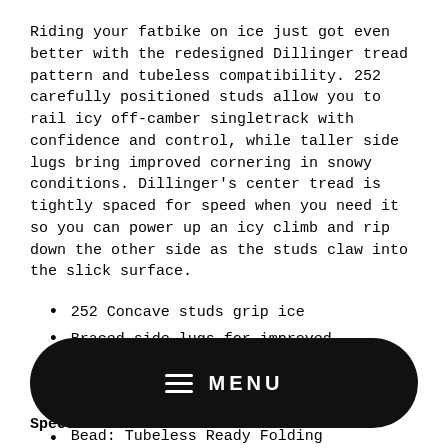Riding your fatbike on ice just got even better with the redesigned Dillinger tread pattern and tubeless compatibility. 252 carefully positioned studs allow you to rail icy off-camber singletrack with confidence and control, while taller side lugs bring improved cornering in snowy conditions. Dillinger's center tread is tightly spaced for speed when you need it so you can power up an icy climb and rip down the other side as the studs claw into the slick surface.
252 Concave studs grip ice
Braced side lugs for improved cornering
Tubeless Ready
Specs:
[Figure (screenshot): Black pill-shaped navigation menu bar with hamburger icon and MENU text in white]
Bead: Tubeless Ready Folding